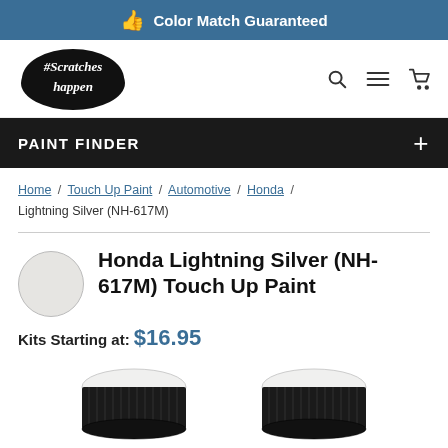Color Match Guaranteed
[Figure (logo): #Scratches Happen brand logo, black sticker style with handwritten text]
PAINT FINDER +
Home / Touch Up Paint / Automotive / Honda / Lightning Silver (NH-617M)
Honda Lightning Silver (NH-617M) Touch Up Paint
Kits Starting at: $16.95
[Figure (photo): Two black-capped touch up paint bottles viewed from above, showing white paint on top caps]